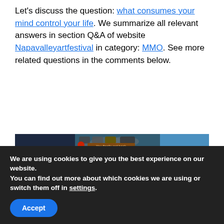Let's discuss the question: what consumes your mind control your life. We summarize all relevant answers in section Q&A of website Napavalleyartfestival in category: MMO. See more related questions in the comments below.
[Figure (screenshot): Screenshot of a mobile game or app showing a character in a tropical setting with a blue sky, palm trees, and game UI elements including circular icons at top. Split view showing two panels side by side.]
We are using cookies to give you the best experience on our website.
You can find out more about which cookies we are using or switch them off in settings.
Accept